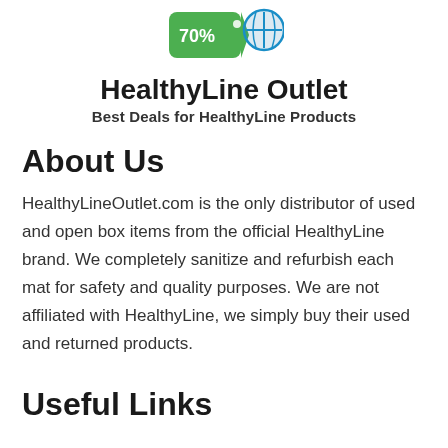[Figure (logo): HealthyLine Outlet logo: green price tag shape with '70%' text and a blue circular globe/cross icon]
HealthyLine Outlet
Best Deals for HealthyLine Products
About Us
HealthyLineOutlet.com is the only distributor of used and open box items from the official HealthyLine brand. We completely sanitize and refurbish each mat for safety and quality purposes. We are not affiliated with HealthyLine, we simply buy their used and returned products.
Useful Links